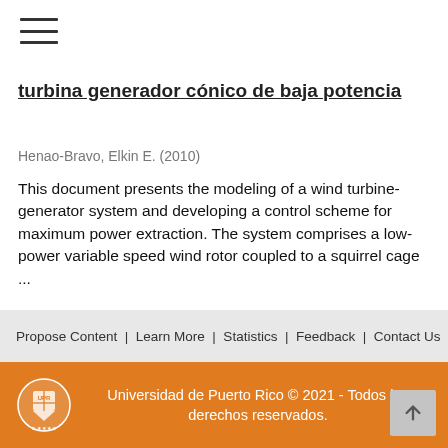[Figure (other): Hamburger/menu icon with three horizontal lines]
turbina generador cónico de baja potencia
Henao-Bravo, Elkin E. (2010)
This document presents the modeling of a wind turbine-generator system and developing a control scheme for maximum power extraction. The system comprises a low-power variable speed wind rotor coupled to a squirrel cage ...
Propose Content | Learn More | Statistics | Feedback | Contact Us
Universidad de Puerto Rico © 2021 - Todos los derechos reservados.